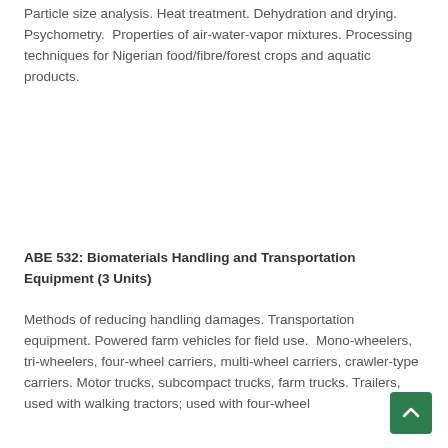Particle size analysis. Heat treatment. Dehydration and drying. Psychometry.  Properties of air-water-vapor mixtures. Processing techniques for Nigerian food/fibre/forest crops and aquatic products.
ABE 532: Biomaterials Handling and Transportation Equipment (3 Units)
Methods of reducing handling damages. Transportation equipment. Powered farm vehicles for field use.  Mono-wheelers, tri-wheelers, four-wheel carriers, multi-wheel carriers, crawler-type carriers. Motor trucks, subcompact trucks, farm trucks. Trailers, used with walking tractors; used with four-wheel tractors and farm transportation. Combine harvesters and b...